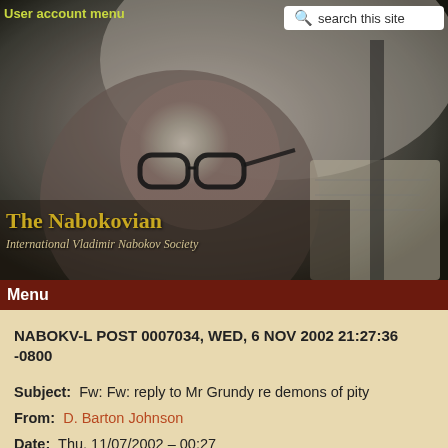[Figure (photo): Black and white photograph of Vladimir Nabokov, an elderly man with glasses, leaning forward appearing to write or read papers. Overlaid with navigation elements including 'User account menu' and a search bar, plus 'The Nabokovian / International Vladimir Nabokov Society' branding.]
Menu
NABOKV-L POST 0007034, WED, 6 NOV 2002 21:27:36 -0800
Subject: Fw: Fw: reply to Mr Grundy re demons of pity
From: D. Barton Johnson
Date: Thu, 11/07/2002 - 00:27
----- Original Message -----